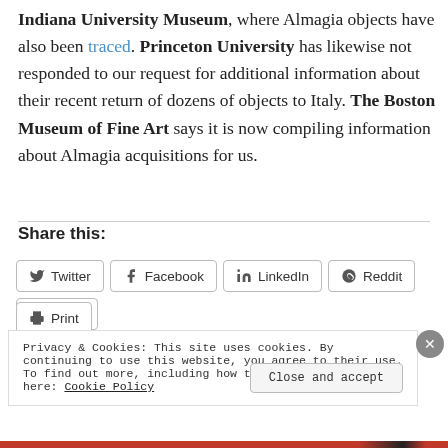Indiana University Museum, where Almagia objects have also been traced. Princeton University has likewise not responded to our request for additional information about their recent return of dozens of objects to Italy. The Boston Museum of Fine Art says it is now compiling information about Almagia acquisitions for us.
Share this:
Twitter  Facebook  LinkedIn  Reddit  Email  Print
Privacy & Cookies: This site uses cookies. By continuing to use this website, you agree to their use. To find out more, including how to control cookies, see here: Cookie Policy
Close and accept